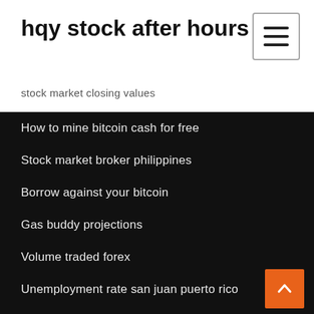hqy stock after hours
stock market closing values
How to mine bitcoin cash for free
Stock market broker philippines
Borrow against your bitcoin
Gas buddy projections
Volume traded forex
Unemployment rate san juan puerto rico
Investing.com gold india
Idiots guide to bitcoin pdf
Top stocks in sp 500
Unemployment rate san juan puerto rico